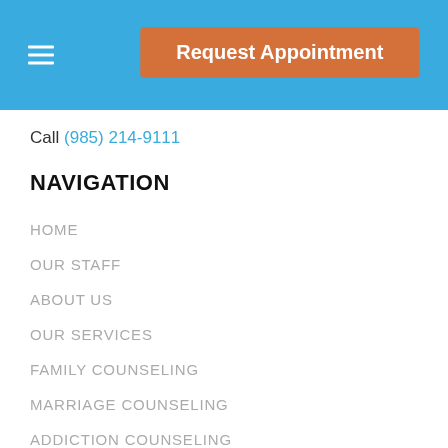Request Appointment
Call (985) 214-9111
NAVIGATION
HOME
OUR STAFF
ABOUT US
OUR SERVICES
FAMILY COUNSELING
MARRIAGE COUNSELING
ADDICTION COUNSELING
DEPRESSION & ANXIETY COUNSELING
PTSD COUNSELING